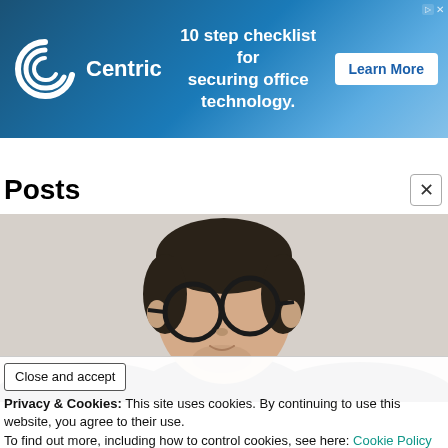[Figure (other): Centric advertisement banner: logo on left with circular C icon and Centric text, center text '10 step checklist for securing office technology.', Learn More button on right, blue gradient background]
Posts
[Figure (photo): Photo of a young man with round glasses, short beard, wearing a dark sleeveless shirt, looking upward against a light grey background]
Close and accept
Privacy & Cookies: This site uses cookies. By continuing to use this website, you agree to their use.
To find out more, including how to control cookies, see here: Cookie Policy